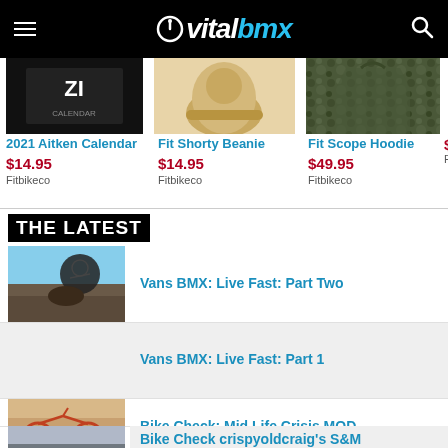VitalBMX
[Figure (screenshot): 2021 Aitken Calendar product image - dark background with calendar]
2021 Aitken Calendar
$14.95
Fitbikeco
[Figure (photo): Fit Shorty Beanie product image - tan knit beanie]
Fit Shorty Beanie
$14.95
Fitbikeco
[Figure (photo): Fit Scope Hoodie product image - camo hoodie]
Fit Scope Hoodie
$49.95
Fitbikeco
THE LATEST
[Figure (photo): BMX rider at skatepark - silhouette against sky]
Vans BMX: Live Fast: Part Two
[Figure (photo): BMX rider on dirt jump]
Vans BMX: Live Fast: Part 1
[Figure (photo): BMX bike check photo - orange/red bike]
Bike Check: Mid Life Crisis MOD
[Figure (photo): BMX bike check - S&M bike]
Bike Check crispyoldcraig's S&M